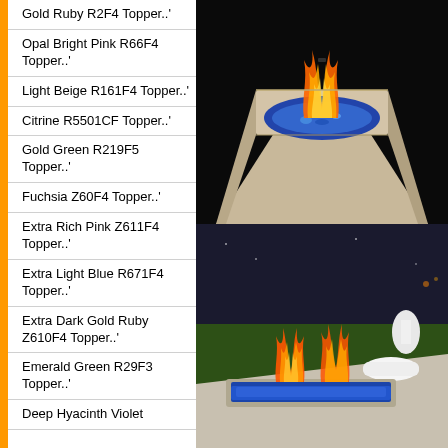Gold Ruby R2F4 Topper..'
Opal Bright Pink R66F4 Topper..'
Light Beige R161F4 Topper..'
Citrine R5501CF Topper..'
Gold Green R219F5 Topper..'
Fuchsia Z60F4 Topper..'
Extra Rich Pink Z611F4 Topper..'
Extra Light Blue R671F4 Topper..'
Extra Dark Gold Ruby Z610F4 Topper..'
Emerald Green R29F3 Topper..'
Deep Hyacinth Violet...
[Figure (photo): Outdoor square fire pit with blue glass fire beads and open flames, set in a stone/concrete surround, photographed at night]
[Figure (photo): Outdoor rectangular fire feature with blue glass beads and open flames, set in a patio area with green lawn and white sculptural objects in background, photographed at dusk/night]